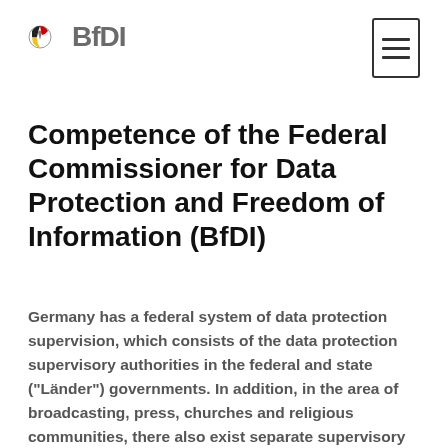BfDI
Competence of the Federal Commissioner for Data Protection and Freedom of Information (BfDI)
Germany has a federal system of data protection supervision, which consists of the data protection supervisory authorities in the federal and state (“Länder”) governments. In addition, in the area of broadcasting, press, churches and religious communities, there also exist separate supervisory bodies.